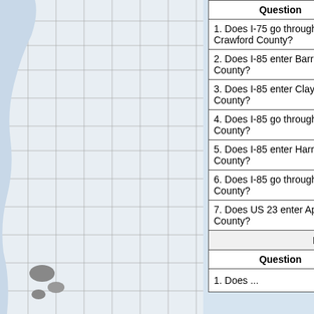[Figure (map): Background map showing US counties/states with blue water and gray land boundaries (Western US visible on left side)]
| Question | Answer |
| --- | --- |
| 1. Does I-75 go through Crawford County? | Yes |
| 2. Does I-85 enter Barrow County? | Yes |
| 3. Does I-85 enter Clayton County? | Yes |
| 4. Does I-85 go through Hall County? | No (TIGER map) |
| 5. Does I-85 enter Harris County? | Yes |
| 6. Does I-85 go through Hart County? | Yes (TIGER map)+ |
| 7. Does US 23 enter Appling County? | Yes (TIGER) |
| Question | Answer |
| --- | --- |
| 1. Does ... | ... |